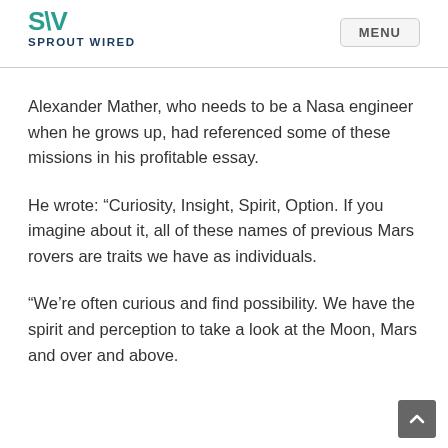SPROUT WIRED | MENU
Alexander Mather, who needs to be a Nasa engineer when he grows up, had referenced some of these missions in his profitable essay.
He wrote: “Curiosity, Insight, Spirit, Option. If you imagine about it, all of these names of previous Mars rovers are traits we have as individuals.
“We’re often curious and find possibility. We have the spirit and perception to take a look at the Moon, Mars and over and above.